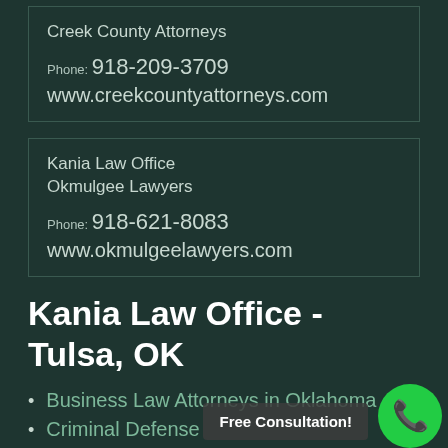Creek County Attorneys
Phone: 918-209-3709
www.creekcountyattorneys.com
Kania Law Office
Okmulgee Lawyers
Phone: 918-621-8083
www.okmulgeelawyers.com
Kania Law Office - Tulsa, OK
Business Law Attorneys in Oklahoma
Criminal Defense
Family and Divorce Law
Immigration Law
Free Consultation!